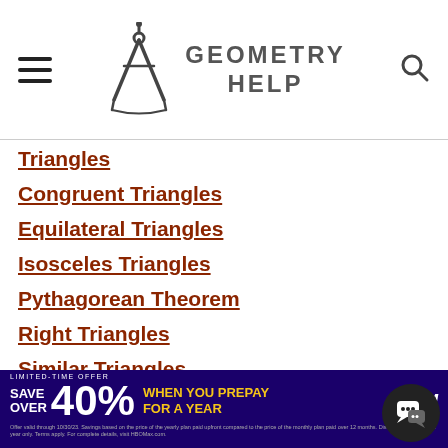GEOMETRY HELP
Triangles
Congruent Triangles
Equilateral Triangles
Isosceles Triangles
Pythagorean Theorem
Right Triangles
Similar Triangles
Triangle Inequalities
[Figure (screenshot): HBO Max advertisement banner: SAVE OVER 40% WHEN YOU PREPAY FOR A YEAR. Limited-time offer with fine print.]